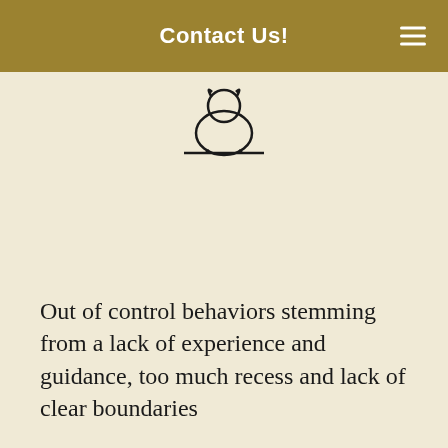Contact Us!
[Figure (illustration): Line drawing icon of a dog sitting or standing, outline style]
Out of control behaviors stemming from a lack of experience and guidance, too much recess and lack of clear boundaries
This website uses cookies to ensure you get the best experience on our website. Learn more
OCCURS WHEN
[Figure (illustration): Line drawing icon of a dog running, outline style]